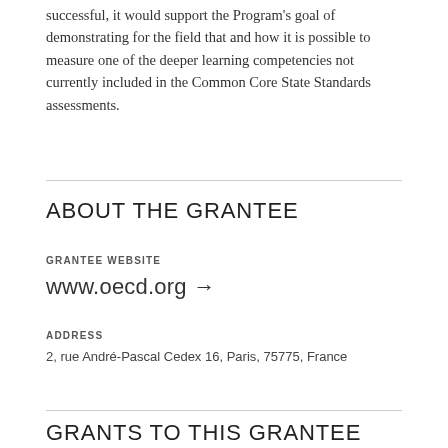successful, it would support the Program's goal of demonstrating for the field that and how it is possible to measure one of the deeper learning competencies not currently included in the Common Core State Standards assessments.
ABOUT THE GRANTEE
GRANTEE WEBSITE
www.oecd.org →
ADDRESS
2, rue André-Pascal Cedex 16, Paris, 75775, France
GRANTS TO THIS GRANTEE